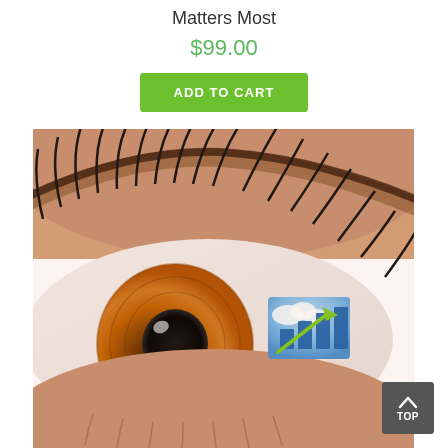Matters Most
$99.00
ADD TO CART
[Figure (photo): Close-up photograph of a human eye with brown iris and long eyelashes. In the white of the eye (sclera) there is a small inset image showing a blue sky with clouds and a green upward arrow overlaid on a blue bar chart shape.]
TOP